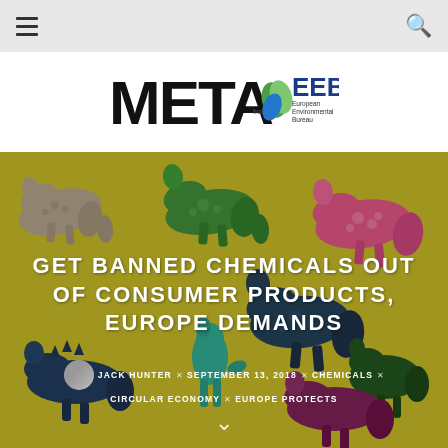Navigation bar with hamburger menu and search icon
[Figure (logo): META from the EEB (European Environmental Bureau) logo]
[Figure (photo): Colorful plastic toy dinosaurs on a yellow-green background with article headline overlay]
GET BANNED CHEMICALS OUT OF CONSUMER PRODUCTS, EUROPE DEMANDS
JACK HUNTER × SEPTEMBER 13, 2018 × CHEMICALS × CIRCULAR ECONOMY × EUROPE PROTECTS